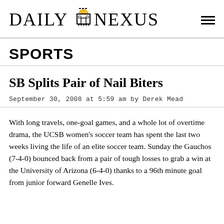DAILY NEXUS
SPORTS
SB Splits Pair of Nail Biters
September 30, 2008 at 5:59 am by Derek Mead
With long travels, one-goal games, and a whole lot of overtime drama, the UCSB women's soccer team has spent the last two weeks living the life of an elite soccer team. Sunday the Gauchos (7-4-0) bounced back from a pair of tough losses to grab a win at the University of Arizona (6-4-0) thanks to a 96th minute goal from junior forward Genelle Ives.